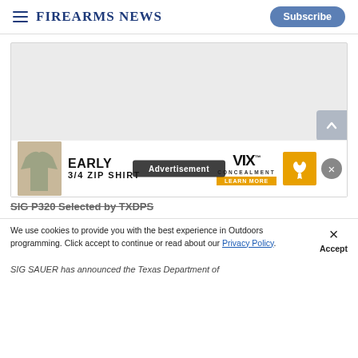Firearms News — Subscribe
[Figure (photo): Large article image placeholder with light gray background]
[Figure (infographic): Advertisement banner: EARLY 3/4 ZIP SHIRT by VIX Concealment with LEARN MORE button. Shows camouflage jacket. Advertisement label overlay in dark bar.]
SIG P320 Selected by TXDPS
We use cookies to provide you with the best experience in Outdoors programming. Click accept to continue or read about our Privacy Policy.
SIG SAUER has announced the Texas Department of